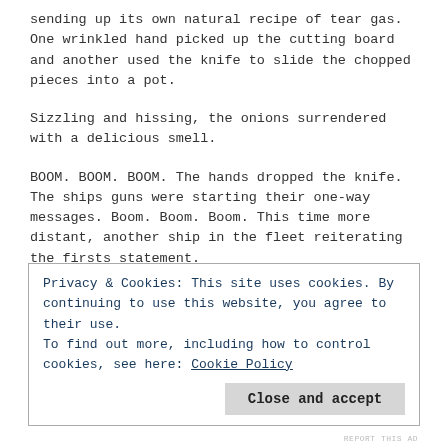sending up its own natural recipe of tear gas. One wrinkled hand picked up the cutting board and another used the knife to slide the chopped pieces into a pot.
Sizzling and hissing, the onions surrendered with a delicious smell.
BOOM. BOOM. BOOM. The hands dropped the knife. The ships guns were starting their one-way messages. Boom. Boom. Boom. This time more distant, another ship in the fleet reiterating the firsts statement.
Picking up a potato, the hands deftly maneuvered the root vegetable into little starch squares.
Privacy & Cookies: This site uses cookies. By continuing to use this website, you agree to their use.
To find out more, including how to control cookies, see here: Cookie Policy
Close and accept
REPORT THIS AD